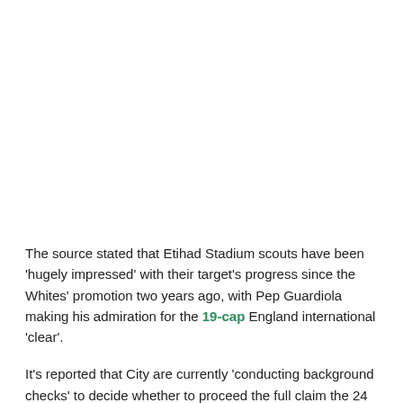The source stated that Etihad Stadium scouts have been 'hugely impressed' with their target's progress since the Whites' promotion two years ago, with Pep Guardiola making his admiration for the 19-cap England international 'clear'.
It's reported that City are currently 'conducting background checks' to decide whether to proceed the full claim the 24